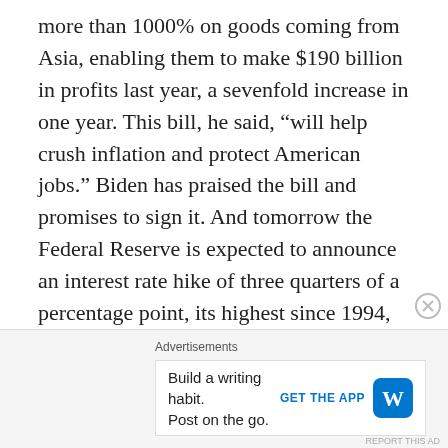more than 1000% on goods coming from Asia, enabling them to make $190 billion in profits last year, a sevenfold increase in one year. This bill, he said, “will help crush inflation and protect American jobs.” Biden has praised the bill and promises to sign it. And tomorrow the Federal Reserve is expected to announce an interest rate hike of three quarters of a percentage point, its highest since 1994, to combat inflation. Higher interest rates will make it more expensive to borrow money, which should cool down the economy, although getting inflation down to the 2% the Fed prefers will likely slow consumer spending, dampen wage increases, and slow economic growth. And of course,
Advertisements
Build a writing habit. Post on the go. GET THE APP